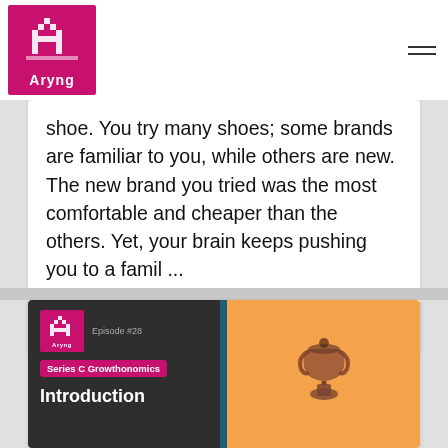Aryng
shoe. You try many shoes; some brands are familiar to you, while others are new. The new brand you tried was the most comfortable and cheaper than the others. Yet, your brain keeps pushing you to a famil ...
Read More →
0
Campaign Analytics
[Figure (screenshot): Aryng podcast episode #28 card - Series C Growthonomics, Introduction, with orange panel on right showing a small decorative figure, and dark left panel with Aryng logo]